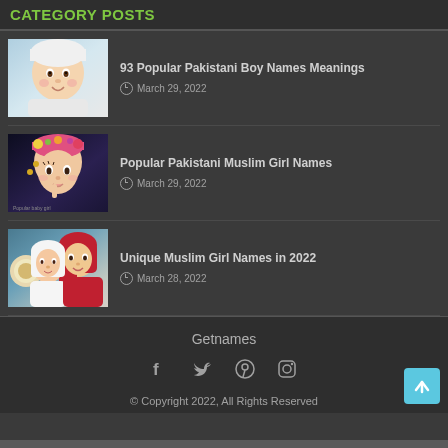CATEGORY POSTS
[Figure (photo): Baby boy in white hat]
93 Popular Pakistani Boy Names Meanings
March 29, 2022
[Figure (photo): Baby girl with floral headband and golden accessories]
Popular Pakistani Muslim Girl Names
March 29, 2022
[Figure (photo): Woman and child in hijab with pink and white clothing]
Unique Muslim Girl Names in 2022
March 28, 2022
Getnames
© Copyright 2022, All Rights Reserved